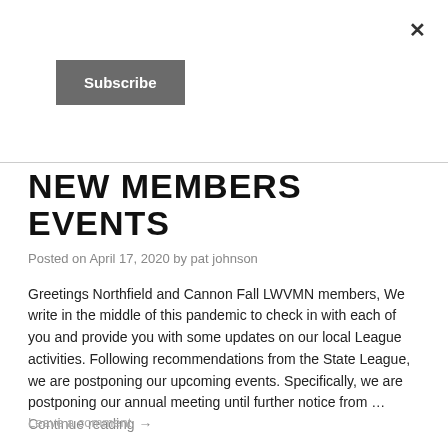×
Subscribe
NEW MEMBERS EVENTS
Posted on April 17, 2020 by pat johnson
Greetings Northfield and Cannon Fall LWVMN members, We write in the middle of this pandemic to check in with each of you and provide you with some updates on our local League activities. Following recommendations from the State League, we are postponing our upcoming events. Specifically, we are postponing our annual meeting until further notice from … Continue reading →
Leave a comment